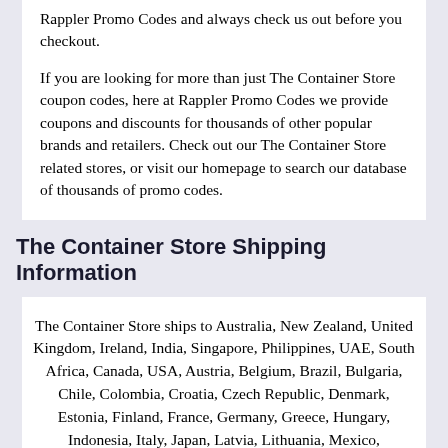Rappler Promo Codes and always check us out before you checkout.

If you are looking for more than just The Container Store coupon codes, here at Rappler Promo Codes we provide coupons and discounts for thousands of other popular brands and retailers. Check out our The Container Store related stores, or visit our homepage to search our database of thousands of promo codes.
The Container Store Shipping Information
The Container Store ships to Australia, New Zealand, United Kingdom, Ireland, India, Singapore, Philippines, UAE, South Africa, Canada, USA, Austria, Belgium, Brazil, Bulgaria, Chile, Colombia, Croatia, Czech Republic, Denmark, Estonia, Finland, France, Germany, Greece, Hungary, Indonesia, Italy, Japan, Latvia, Lithuania, Mexico, Netherlands, Norway, Peru, Portugal